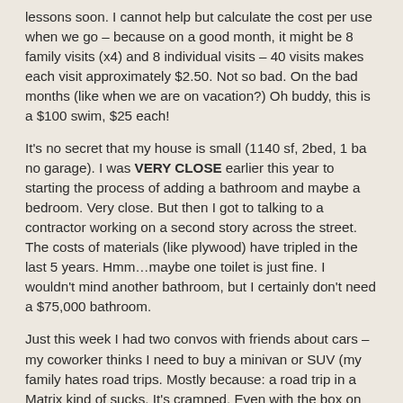lessons soon. I cannot help but calculate the cost per use when we go – because on a good month, it might be 8 family visits (x4) and 8 individual visits – 40 visits makes each visit approximately $2.50. Not so bad. On the bad months (like when we are on vacation?) Oh buddy, this is a $100 swim, $25 each!
It's no secret that my house is small (1140 sf, 2bed, 1 ba no garage). I was VERY CLOSE earlier this year to starting the process of adding a bathroom and maybe a bedroom. Very close. But then I got to talking to a contractor working on a second story across the street. The costs of materials (like plywood) have tripled in the last 5 years. Hmm...maybe one toilet is just fine. I wouldn't mind another bathroom, but I certainly don't need a $75,000 bathroom.
Just this week I had two convos with friends about cars – my coworker thinks I need to buy a minivan or SUV (my family hates road trips. Mostly because: a road trip in a Matrix kind of sucks. It's cramped. Even with the box on top, camping is super hard.) My thought: the Matrix isn't dead. With 133k miles, it's just a baby. My other friend owns a minivan and large SUV and are headed off camping with the kids. I loaned them our camping cots (man, those things are a god send when you are over 40, just saying). She was talking about getting a pop up